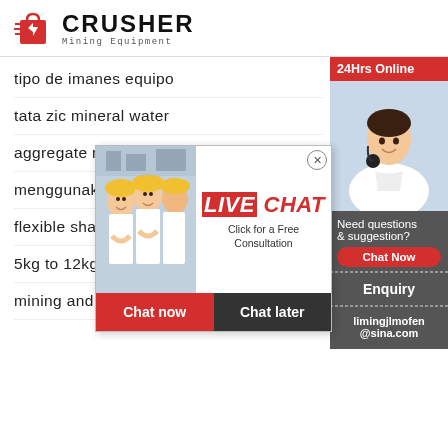[Figure (logo): Crusher Mining Equipment logo with red bag icon and bold CRUSHER text]
tipo de imanes equipo
tata zic mineral water
aggregate material on belt conveyors
menggunakan...
flexible shaft...
5kg to 12kg...
mining and e...
[Figure (screenshot): Live chat popup overlay with workers photo, LIVE CHAT text in red, Click for a Free Consultation, Chat now and Chat later buttons]
[Figure (screenshot): Right sidebar with 24Hrs Online banner, customer service agent photo, Need questions & suggestion chat now button, Enquiry link, and limingjlmofen@sina.com email]